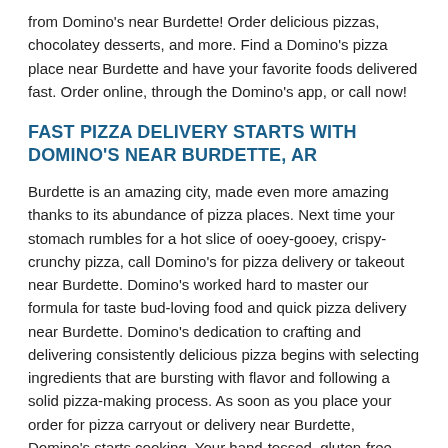from Domino's near Burdette! Order delicious pizzas, chocolatey desserts, and more. Find a Domino's pizza place near Burdette and have your favorite foods delivered fast. Order online, through the Domino's app, or call now!
FAST PIZZA DELIVERY STARTS WITH DOMINO'S NEAR BURDETTE, AR
Burdette is an amazing city, made even more amazing thanks to its abundance of pizza places. Next time your stomach rumbles for a hot slice of ooey-gooey, crispy-crunchy pizza, call Domino's for pizza delivery or takeout near Burdette. Domino's worked hard to master our formula for taste bud-loving food and quick pizza delivery near Burdette. Domino's dedication to crafting and delivering consistently delicious pizza begins with selecting ingredients that are bursting with flavor and following a solid pizza-making process. As soon as you place your order for pizza carryout or delivery near Burdette, Domino's starts cooking. Your hand-tossed, gluten-free, crunchy thin crust, or Brooklyn-style pizza crust is readied for the oven and covered in the sauce of your choice. You can play it simple with a classic marinara or venture into new taste territory with BBQ sauce, garlic parmesan